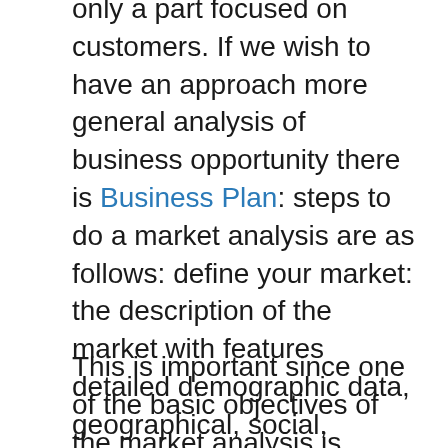only a part focused on customers. If we wish to have an approach more general analysis of business opportunity there is Business Plan: steps to do a market analysis are as follows: define your market: the description of the market with features detailed demographic data, geographical, social, economic etc; they will give us a more complete profile to be able to locate them. The segmentation is also very useful since you can categorize their consumers and develop more targeted strategies. Evaluate the size and projection of the market.
This is important since one of the basic objectives of the market analysis is knowing if an opportunity exists and if it is possible that it will eventually...